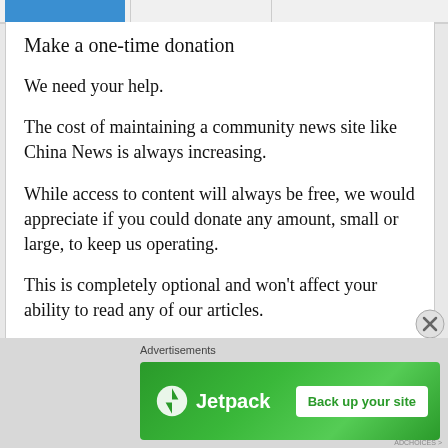Make a one-time donation
We need your help.
The cost of maintaining a community news site like China News is always increasing.
While access to content will always be free, we would appreciate if you could donate any amount, small or large, to keep us operating.
This is completely optional and won't affect your ability to read any of our articles.
Th...
Advertisements
[Figure (infographic): Jetpack advertisement banner with green background showing Jetpack logo and 'Back up your site' button]